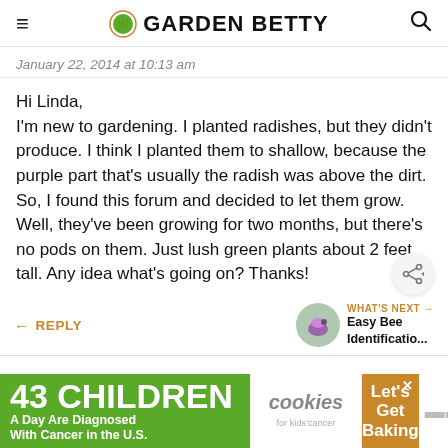GARDEN BETTY
January 22, 2014 at 10:13 am
Hi Linda,
I'm new to gardening. I planted radishes, but they didn't produce. I think I planted them to shallow, because the purple part that's usually the radish was above the dirt. So, I found this forum and decided to let them grow. Well, they've been growing for two months, but there's no pods on them. Just lush green plants about 2 feet tall. Any idea what's going on? Thanks!
REPLY
WHAT'S NEXT → Easy Bee Identificatio...
[Figure (screenshot): Advertisement banner: '43 CHILDREN A Day Are Diagnosed With Cancer in the U.S.' with cookies for kids cancer and Let's Get Baking]